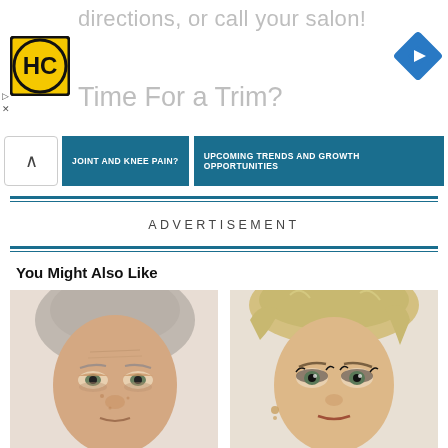[Figure (logo): HC yellow logo in top left]
directions, or call your salon!
[Figure (logo): Blue navigation arrow diamond logo top right]
Time For a Trim?
JOINT AND KNEE PAIN?
UPCOMING TRENDS AND GROWTH OPPORTUNITIES
ADVERTISEMENT
You Might Also Like
[Figure (photo): Before and after photo showing two women faces side by side — before on left: older woman with grey hair and minimal makeup; after on right: same or similar woman with short styled blonde hair and full makeup]